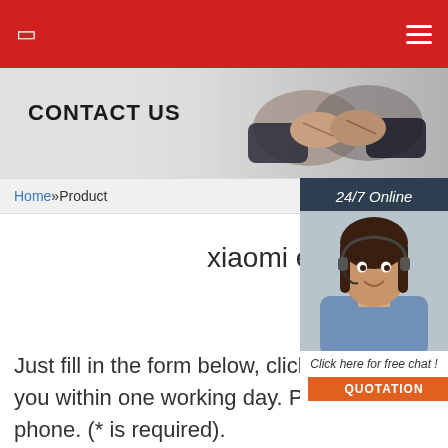☰
[Figure (photo): CONTACT US banner with two people shaking hands in business attire on a gray background]
Home »Product
[Figure (photo): 24/7 Online widget with a woman wearing a headset smiling, and a 'Click here for free chat!' button with QUOTATION button below]
xiaomi electric inflator pump po myanmar
Just fill in the form below, click submit, you will get the price lis we will contact you within one working day. Please also feel free to contact us via email or phone. (* is required).